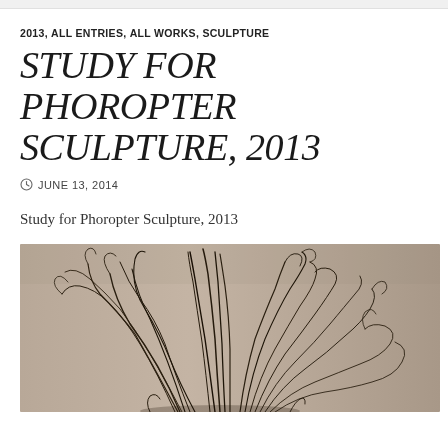2013, ALL ENTRIES, ALL WORKS, SCULPTURE
STUDY FOR PHOROPTER SCULPTURE, 2013
JUNE 13, 2014
Study for Phoropter Sculpture, 2013
[Figure (photo): Black and white photograph of a sculptural artwork resembling tangled wire or grass-like strands forming a bush shape on a neutral background, partially cropped at the bottom of the page.]